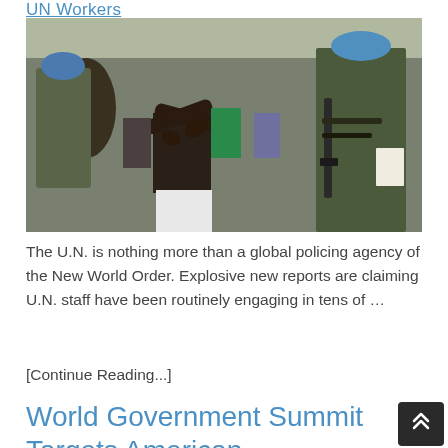UN Workers
[Figure (photo): Photo of civilians in distress surrounded by UN peacekeeping soldiers wearing blue helmets and camouflage uniforms, in a crowd scene.]
The U.N. is nothing more than a global policing agency of the New World Order. Explosive new reports are claiming U.N. staff have been routinely engaging in tens of …
[Continue Reading...]
World Government Summit Targets American Sovereignty